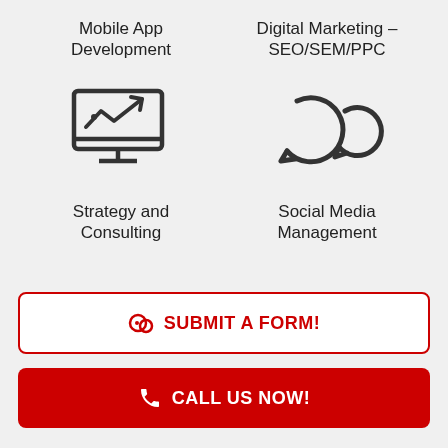Mobile App Development
[Figure (illustration): Monitor/screen icon with upward trending arrow chart]
Digital Marketing – SEO/SEM/PPC
[Figure (illustration): Two circular chat/refresh arrows icon]
Strategy and Consulting
Social Media Management
SUBMIT A FORM!
CALL US NOW!